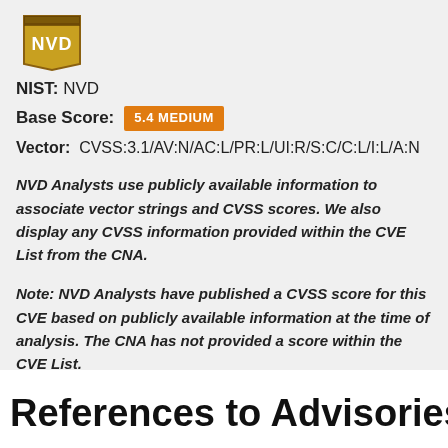[Figure (logo): NVD shield/book logo in gold/brown colors with 'NVD' text]
NIST: NVD
Base Score: 5.4 MEDIUM
Vector: CVSS:3.1/AV:N/AC:L/PR:L/UI:R/S:C/C:L/I:L/A:N
NVD Analysts use publicly available information to associate vector strings and CVSS scores. We also display any CVSS information provided within the CVE List from the CNA.
Note: NVD Analysts have published a CVSS score for this CVE based on publicly available information at the time of analysis. The CNA has not provided a score within the CVE List.
References to Advisories, Soluti